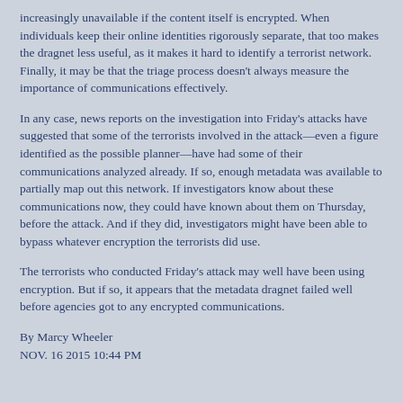increasingly unavailable if the content itself is encrypted. When individuals keep their online identities rigorously separate, that too makes the dragnet less useful, as it makes it hard to identify a terrorist network. Finally, it may be that the triage process doesn't always measure the importance of communications effectively.
In any case, news reports on the investigation into Friday's attacks have suggested that some of the terrorists involved in the attack—even a figure identified as the possible planner—have had some of their communications analyzed already. If so, enough metadata was available to partially map out this network. If investigators know about these communications now, they could have known about them on Thursday, before the attack. And if they did, investigators might have been able to bypass whatever encryption the terrorists did use.
The terrorists who conducted Friday's attack may well have been using encryption. But if so, it appears that the metadata dragnet failed well before agencies got to any encrypted communications.
By Marcy Wheeler
NOV. 16 2015 10:44 PM